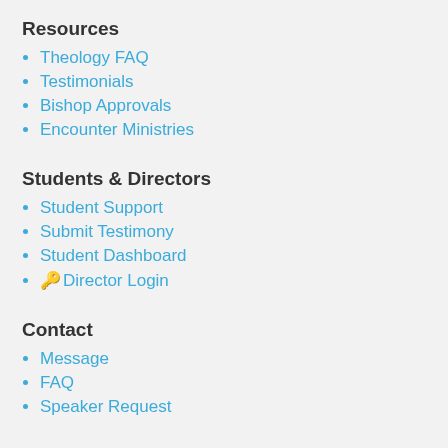Resources
Theology FAQ
Testimonials
Bishop Approvals
Encounter Ministries
Students & Directors
Student Support
Submit Testimony
Student Dashboard
🔑 Director Login
Contact
Message
FAQ
Speaker Request